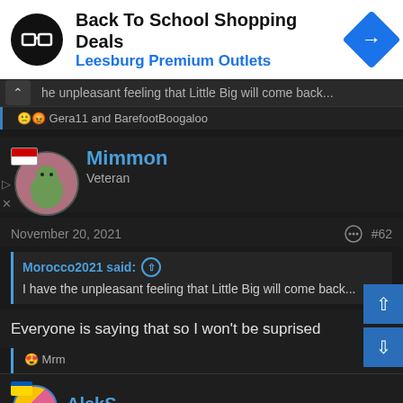[Figure (screenshot): Advertisement banner for Back To School Shopping Deals at Leesburg Premium Outlets, with circular logo on left and navigation icon on right.]
he unpleasant feeling that Little Big will come back...
🙁😡 Gera11 and BarefootBoogaloo
[Figure (photo): User avatar for Mimmon with Latvian flag overlay, circular avatar showing a character.]
Mimmon
Veteran
November 20, 2021
#62
Morocco2021 said: ↑
I have the unpleasant feeling that Little Big will come back...
Everyone is saying that so I won't be suprised
😍 Mrm